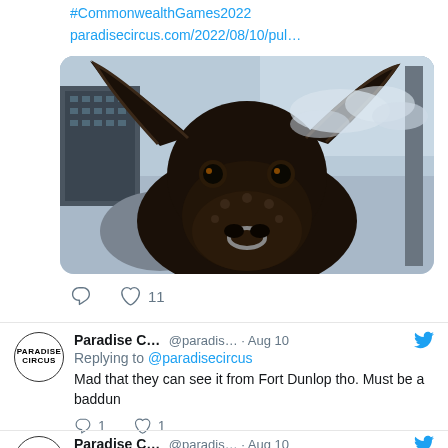#CommonwealthGames2022
paradisecircus.com/2022/08/10/pul...
[Figure (photo): Close-up photo of a large mechanical bull sculpture with prominent horns, nose ring, and riveted metal body, photographed from below against a cloudy sky with city buildings in background.]
11 likes, comment icon and heart icon
Paradise C... @paradis... · Aug 10
Replying to @paradisecircus
Mad that they can see it from Fort Dunlop tho. Must be a baddun
1 comment, 1 like
Paradise C... @paradis... · Aug 10